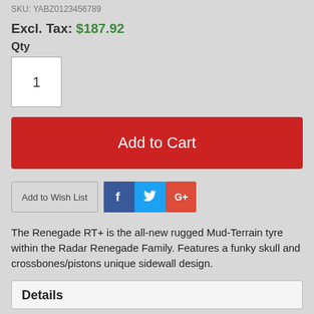SKU: YABZ0123456789
Excl. Tax: $187.92
Qty
1
Add to Cart
Add to Wish List
The Renegade RT+ is the all-new rugged Mud-Terrain tyre within the Radar Renegade Family. Features a funky skull and crossbones/pistons unique sidewall design.
Details